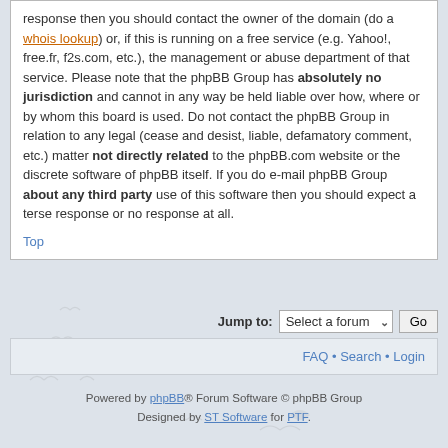response then you should contact the owner of the domain (do a whois lookup) or, if this is running on a free service (e.g. Yahoo!, free.fr, f2s.com, etc.), the management or abuse department of that service. Please note that the phpBB Group has absolutely no jurisdiction and cannot in any way be held liable over how, where or by whom this board is used. Do not contact the phpBB Group in relation to any legal (cease and desist, liable, defamatory comment, etc.) matter not directly related to the phpBB.com website or the discrete software of phpBB itself. If you do e-mail phpBB Group about any third party use of this software then you should expect a terse response or no response at all.
Top
Jump to:   Select a forum   Go
FAQ • Search • Login
Powered by phpBB® Forum Software © phpBB Group
Designed by ST Software for PTF.